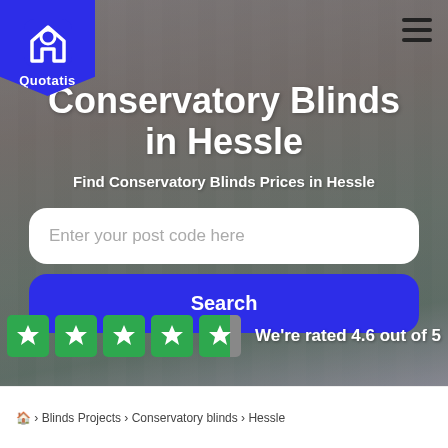[Figure (logo): Quotatis logo — white house icon on blue badge/pennant shape with text 'Quotatis' below]
Conservatory Blinds in Hessle
Find Conservatory Blinds Prices in Hessle
Enter your post code here
Search
We're rated 4.6 out of 5
🏠 › Blinds Projects › Conservatory blinds › Hessle